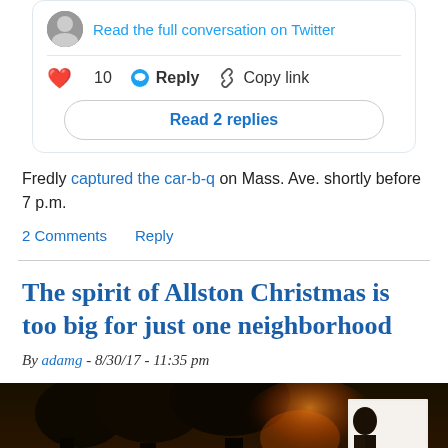[Figure (screenshot): Twitter/social card showing 'Read the full conversation on Twitter' link with avatar, heart icon with count 10, Reply button, Copy link button, and Read 2 replies button]
Fredly captured the car-b-q on Mass. Ave. shortly before 7 p.m.
2 Comments   Reply
The spirit of Allston Christmas is too big for just one neighborhood
By adamg - 8/30/17 - 11:35 pm
[Figure (photo): Dark nighttime photo showing trees with orange glow of fire in background, and a person holding a white paper/sign on the right side]